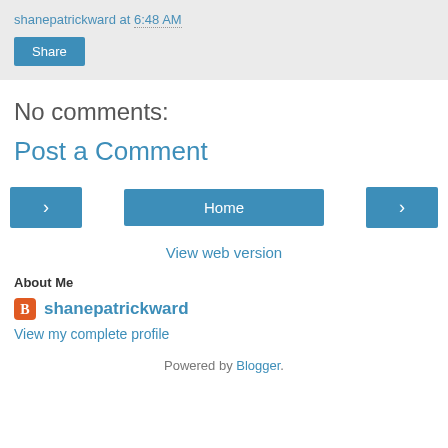shanepatrickward at 6:48 AM
Share
No comments:
Post a Comment
< Home >
View web version
About Me
shanepatrickward
View my complete profile
Powered by Blogger.